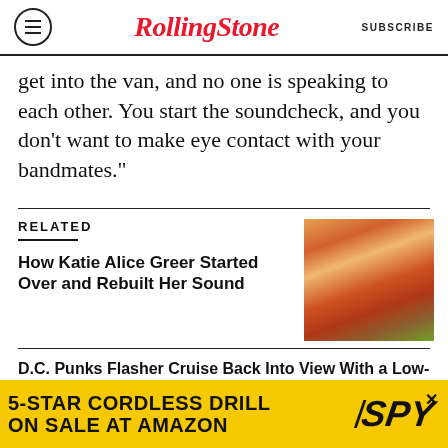RollingStone | SUBSCRIBE
get into the van, and no one is speaking to each other. You start the soundcheck, and you don't want to make eye contact with your bandmates."
RELATED
How Katie Alice Greer Started Over and Rebuilt Her Sound
[Figure (photo): Photo of a woman with red hair and a floral jacket, hands raised near her head]
D.C. Punks Flasher Cruise Back Into View With a Low-Key Disco Delight
Priests Announce Split for 'Foreseeable Future'
[Figure (infographic): Advertisement banner: 5-STAR CORDLESS DRILL ON SALE AT AMAZON / SPY logo on yellow background]